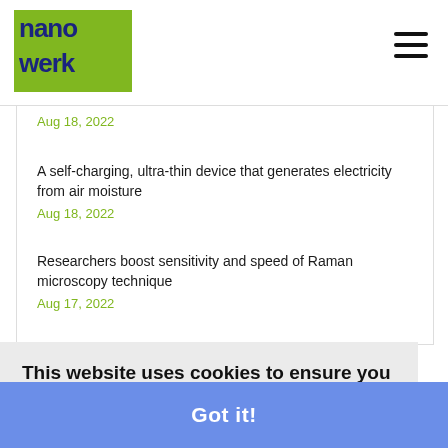nanowerk
Aug 18, 2022
A self-charging, ultra-thin device that generates electricity from air moisture
Aug 18, 2022
Researchers boost sensitivity and speed of Raman microscopy technique
Aug 17, 2022
This website uses cookies to ensure you get the best experience on our website.
Cookie policy
Got it!
ials
Aug 17, 2022